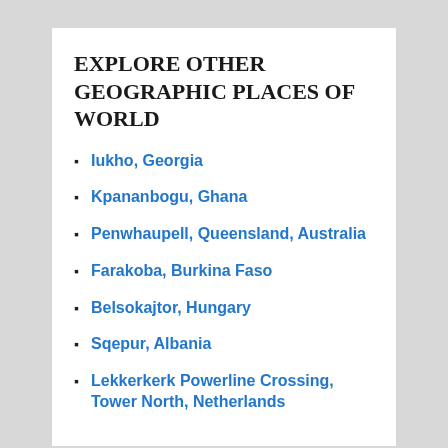EXPLORE OTHER GEOGRAPHIC PLACES OF WORLD
Iukho, Georgia
Kpananbogu, Ghana
Penwhaupell, Queensland, Australia
Farakoba, Burkina Faso
Belsokajtor, Hungary
Sqepur, Albania
Lekkerkerk Powerline Crossing, Tower North, Netherlands